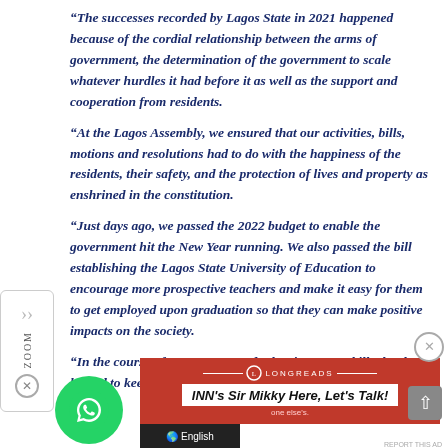“The successes recorded by Lagos State in 2021 happened because of the cordial relationship between the arms of government, the determination of the government to scale whatever hurdles it had before it as well as the support and cooperation from residents.
“At the Lagos Assembly, we ensured that our activities, bills, motions and resolutions had to do with the happiness of the residents, their safety, and the protection of lives and property as enshrined in the constitution.
“Just days ago, we passed the 2022 budget to enable the government hit the New Year running. We also passed the bill establishing the Lagos State University of Education to encourage more prospective teachers and make it easy for them to get employed upon graduation so that they can make positive impacts on the society.
“In the course of 2021, we passed other important bills that have helped to keep Lagos at its enviable position.
[Figure (screenshot): Advertisement banner with WhatsApp button, Longreads logo, INN Sir Mikky promotional message, scroll-up button, and English language selector at the bottom.]